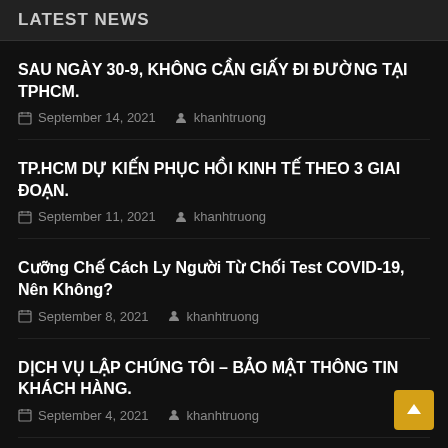LATEST NEWS
SAU NGÀY 30-9, KHÔNG CẦN GIẤY ĐI ĐƯỜNG TẠI TPHCM.
September 14, 2021   khanhtruong
TP.HCM DỰ KIẾN PHỤC HỒI KINH TẾ THEO 3 GIAI ĐOẠN.
September 11, 2021   khanhtruong
Cưỡng Chế Cách Ly Người Từ Chối Test COVID-19, Nên Không?
September 8, 2021   khanhtruong
DỊCH VỤ LẬP CHÚNG TÔI – BẢO MẬT THÔNG TIN KHÁCH HÀNG.
September 4, 2021   khanhtruong
Consultancy On Investment Into Vietnam